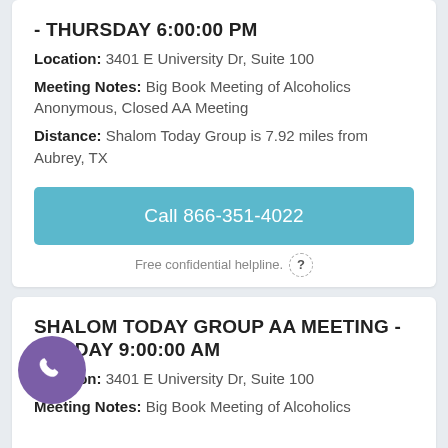- THURSDAY 6:00:00 PM
Location: 3401 E University Dr, Suite 100
Meeting Notes: Big Book Meeting of Alcoholics Anonymous, Closed AA Meeting
Distance: Shalom Today Group is 7.92 miles from Aubrey, TX
Call 866-351-4022
Free confidential helpline.
SHALOM TODAY GROUP AA MEETING - SUNDAY 9:00:00 AM
Location: 3401 E University Dr, Suite 100
Meeting Notes: Big Book Meeting of Alcoholics Anonymous, Closed AA Meeting (Alcoholic...